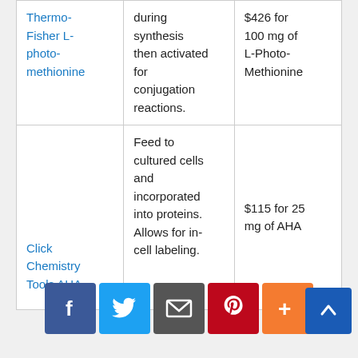| Thermo-Fisher L-photo-methionine | during synthesis then activated for conjugation reactions. | $426 for 100 mg of L-Photo-Methionine |
| Click Chemistry Tools AHA | Feed to cultured cells and incorporated into proteins. Allows for in-cell labeling. | $115 for 25 mg of AHA |
[Figure (infographic): Social media sharing icons: Facebook (blue), Twitter (light blue), Email/envelope (gray), Pinterest (red), More/plus (orange). Also a scroll-to-top button (dark blue with up arrow) in the bottom right.]